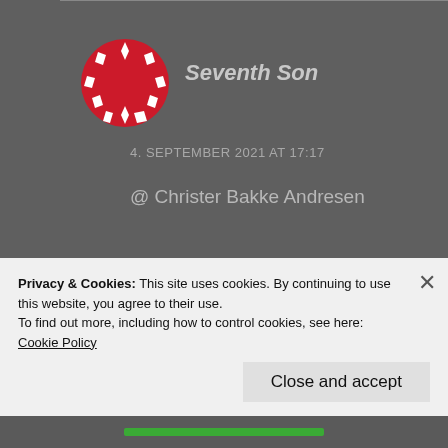[Figure (logo): Circular red avatar with white diamond/arrow shapes arranged in a ring pattern]
Seventh Son
4. SEPTEMBER 2021 AT 17:17
@ Christer Bakke Andresen
Now that Senjutsu is out, we can see what the rest of both casual and die-hard fans think of the production. People almost unanimously agree that the mix is terrible and that
Privacy & Cookies: This site uses cookies. By continuing to use this website, you agree to their use.
To find out more, including how to control cookies, see here: Cookie Policy
Close and accept